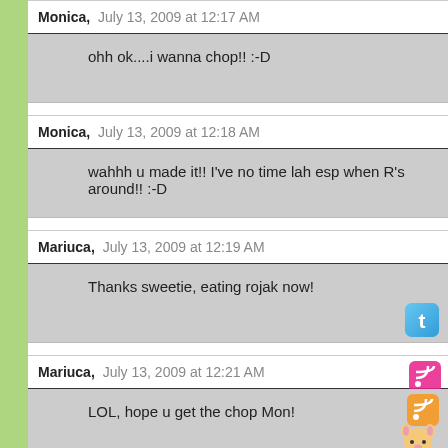Monica, July 13, 2009 at 12:17 AM
ohh ok....i wanna chop!! :-D
Monica, July 13, 2009 at 12:18 AM
wahhh u made it!! I've no time lah esp when R's around!! :-D
Mariuca, July 13, 2009 at 12:19 AM
Thanks sweetie, eating rojak now!
Mariuca, July 13, 2009 at 12:21 AM
LOL, hope u get the chop Mon!
Monica, July 13, 2009 at 12:22 AM